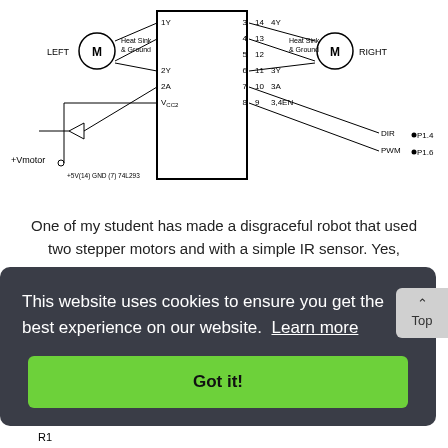[Figure (circuit-diagram): Circuit diagram showing a 74L293 H-bridge motor driver IC with LEFT and RIGHT motors connected. Shows heat sink and ground connections, pins 3-14, VCC2, DIR signal on P1.4, PWM signal on P1.6, +Vmotor supply, buffer gate, and 2A/2Y/3A/3Y/3.4EN connections.]
One of my student has made a disgraceful robot that used two stepper motors and with a simple IR sensor. Yes, above picture is what I'm talking. Without battery carrying, a little bit torque of the...
This website uses cookies to ensure you get the best experience on our website. Learn more
Got it!
[Figure (circuit-diagram): Bottom partial circuit diagram showing R1 component, partially visible at the bottom of the page.]